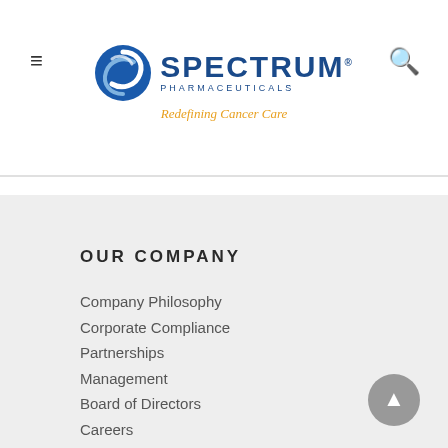[Figure (logo): Spectrum Pharmaceuticals logo with blue circular swirl icon, blue SPECTRUM text, PHARMACEUTICALS subtext, and orange italic tagline 'Redefining Cancer Care']
OUR COMPANY
Company Philosophy
Corporate Compliance
Partnerships
Management
Board of Directors
Careers